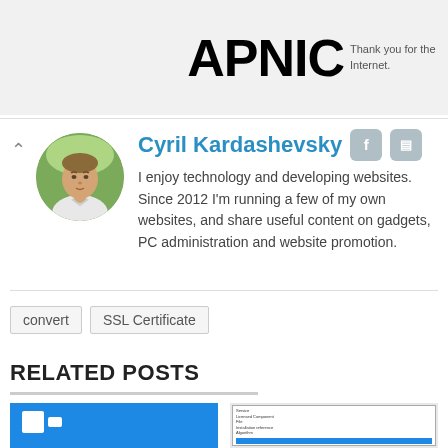APNIC — Thank you for the Internet.
[Figure (illustration): Circular avatar photo of Cyril Kardashevsky, a young man in a white shirt outdoors with green foliage background]
Cyril Kardashevsky
I enjoy technology and developing websites. Since 2012 I'm running a few of my own websites, and share useful content on gadgets, PC administration and website promotion.
convert
SSL Certificate
RELATED POSTS
[Figure (screenshot): Screenshot thumbnail of a Windows-related webpage with blue background and white logo elements]
[Figure (screenshot): Screenshot thumbnail of an SSL certificate details page with text fields and a blue progress bar]